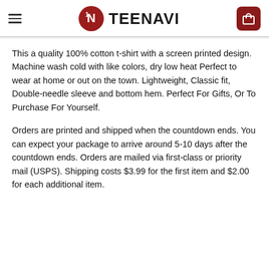TEENAVI
This a quality 100% cotton t-shirt with a screen printed design. Machine wash cold with like colors, dry low heat Perfect to wear at home or out on the town. Lightweight, Classic fit, Double-needle sleeve and bottom hem. Perfect For Gifts, Or To Purchase For Yourself.
Orders are printed and shipped when the countdown ends. You can expect your package to arrive around 5-10 days after the countdown ends. Orders are mailed via first-class or priority mail (USPS). Shipping costs $3.99 for the first item and $2.00 for each additional item.